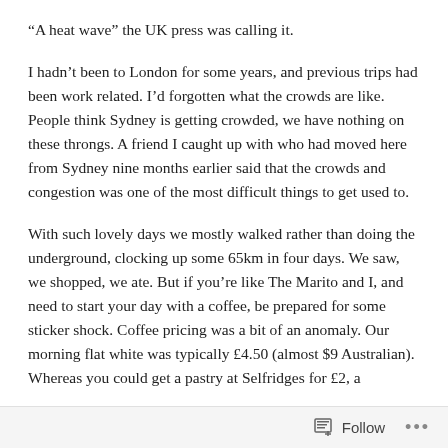“A heat wave” the UK press was calling it.
I hadn’t been to London for some years, and previous trips had been work related. I’d forgotten what the crowds are like. People think Sydney is getting crowded, we have nothing on these throngs. A friend I caught up with who had moved here from Sydney nine months earlier said that the crowds and congestion was one of the most difficult things to get used to.
With such lovely days we mostly walked rather than doing the underground, clocking up some 65km in four days. We saw, we shopped, we ate. But if you’re like The Marito and I, and need to start your day with a coffee, be prepared for some sticker shock. Coffee pricing was a bit of an anomaly. Our morning flat white was typically £4.50 (almost $9 Australian). Whereas you could get a pastry at Selfridges for £2, a
Follow …